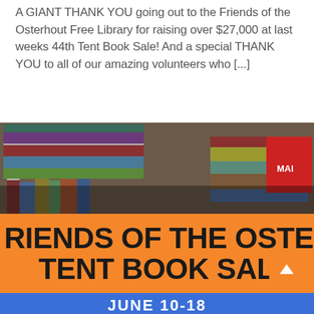A GIANT THANK YOU going out to the Friends of the Osterhout Free Library for raising over $27,000 at last weeks 44th Tent Book Sale! And a special THANK YOU to all of our amazing volunteers who [...]
[Figure (photo): Photo of stacked books with colorful spines, above an orange banner reading 'FRIENDS OF THE OSTERHOUT TENT BOOK SALE' and a blue strip with 'JUNE 10-18']